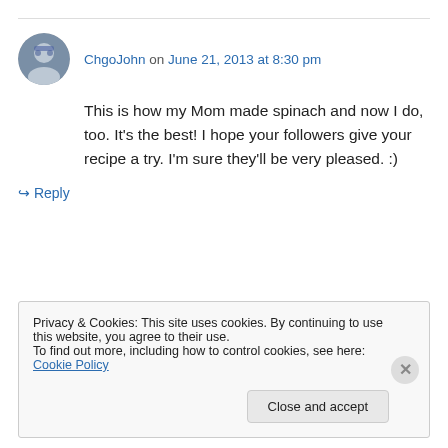ChgoJohn on June 21, 2013 at 8:30 pm
This is how my Mom made spinach and now I do, too. It's the best! I hope your followers give your recipe a try. I'm sure they'll be very pleased. :)
↳ Reply
Privacy & Cookies: This site uses cookies. By continuing to use this website, you agree to their use. To find out more, including how to control cookies, see here: Cookie Policy Close and accept